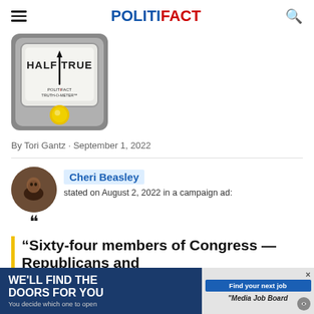POLITIFACT
[Figure (illustration): PolitiFact Truth-O-Meter reading 'Half True' with yellow indicator button]
By Tori Gantz · September 1, 2022
Cheri Beasley stated on August 2, 2022 in a campaign ad:
“Sixty-four members of Congress — Republicans and De...